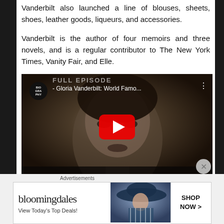Vanderbilt also launched a line of blouses, sheets, shoes, leather goods, liqueurs, and accessories.
Vanderbilt is the author of four memoirs and three novels, and is a regular contributor to The New York Times, Vanity Fair, and Elle.
[Figure (screenshot): YouTube video thumbnail for 'Gloria Vanderbilt: World Famo...' by BIOGRAPHY channel, showing a black-and-white photo of a woman with a play button overlay.]
Advertisements
[Figure (other): Bloomingdale's advertisement banner reading 'View Today's Top Deals!' with SHOP NOW > button and image of woman in blue hat.]